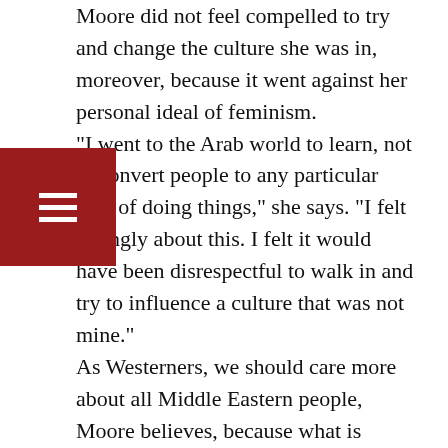Moore did not feel compelled to try and change the culture she was in, moreover, because it went against her personal ideal of feminism. "I went to the Arab world to learn, not to convert people to any particular way of doing things," she says. "I felt strongly about this. I felt it would have been disrespectful to walk in and try to influence a culture that was not mine." As Westerners, we should care more about all Middle Eastern people, Moore believes, because what is presented in the news – by way of terror, conflict, and wars – represents a skewed view of Arab society whereby average citizens are thought to hold the same beliefs are their leaders. "I would resist having my values equated with those of my government," Moore explains, "and